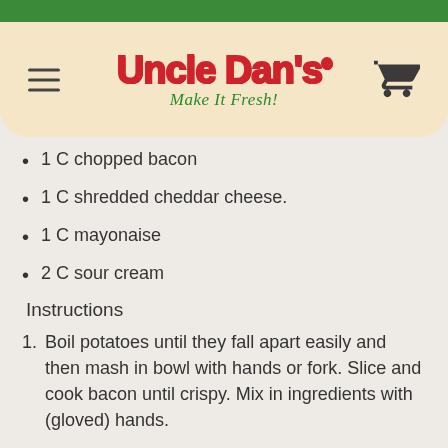[Figure (logo): Uncle Dan's logo with 'Make It Fresh!' tagline, hamburger menu icon, and shopping cart icon on a tan/cream rounded header bar with green top strip]
1 C chopped bacon
1 C shredded cheddar cheese.
1 C mayonaise
2 C sour cream
Instructions
1. Boil potatoes until they fall apart easily and then mash in bowl with hands or fork. Slice and cook bacon until crispy. Mix in ingredients with (gloved) hands.
Read more →